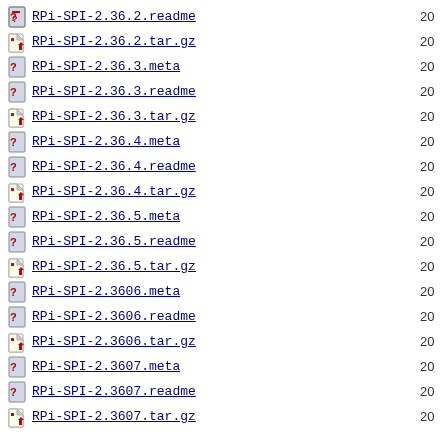RPi-SPI-2.36.2.readme  20
RPi-SPI-2.36.2.tar.gz  20
RPi-SPI-2.36.3.meta  20
RPi-SPI-2.36.3.readme  20
RPi-SPI-2.36.3.tar.gz  20
RPi-SPI-2.36.4.meta  20
RPi-SPI-2.36.4.readme  20
RPi-SPI-2.36.4.tar.gz  20
RPi-SPI-2.36.5.meta  20
RPi-SPI-2.36.5.readme  20
RPi-SPI-2.36.5.tar.gz  20
RPi-SPI-2.3606.meta  20
RPi-SPI-2.3606.readme  20
RPi-SPI-2.3606.tar.gz  20
RPi-SPI-2.3607.meta  20
RPi-SPI-2.3607.readme  20
RPi-SPI-2.3607.tar.gz  20